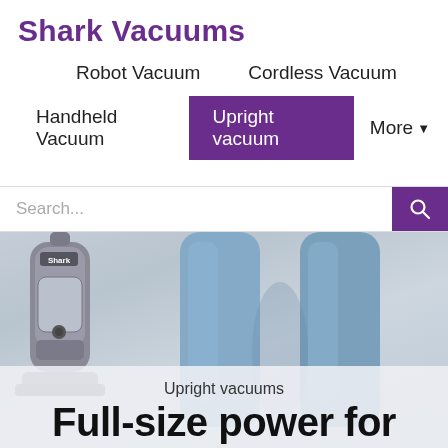Shark Vacuums
Robot Vacuum
Cordless Vacuum
Handheld Vacuum
Upright vacuum
More
Search...
[Figure (photo): Shark upright vacuum cleaner on left side next to a person's legs wearing jeans, light blue/grey background]
Upright vacuums
Full-size power for